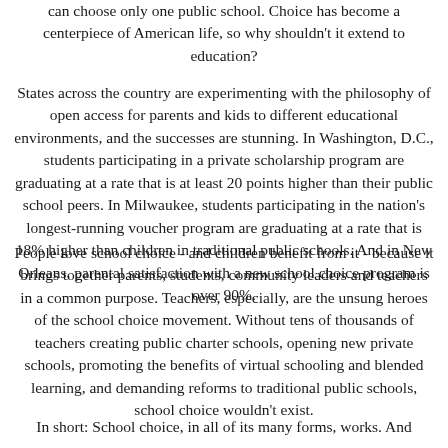can choose only one public school. Choice has become a centerpiece of American life, so why shouldn’t it extend to education?
States across the country are experimenting with the philosophy of open access for parents and kids to different educational environments, and the successes are stunning. In Washington, D.C., students participating in a private scholarship program are graduating at a rate that is at least 20 points higher than their public school peers. In Milwaukee, students participating in the nation’s longest-running voucher program are graduating at a rate that is 18% higher than children in traditional public schools. And in New Orleans, parental satisfaction with a new school choice program is over 90%.
People love school choice - and children benefit from it - because it brings together parents, students, community leaders and teachers in a common purpose. Teachers, especially, are the unsung heroes of the school choice movement. Without tens of thousands of teachers creating public charter schools, opening new private schools, promoting the benefits of virtual schooling and blended learning, and demanding reforms to traditional public schools, school choice wouldn’t exist.
In short: School choice, in all of its many forms, works. And